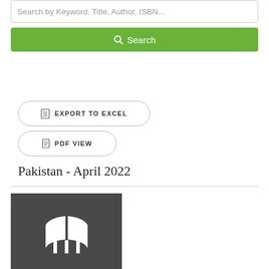Search by Keyword, Title, Author, ISBN...
Search
EXPORT TO EXCEL
PDF VIEW
Pakistan - April 2022
[Figure (illustration): Book cover placeholder with open book icon on dark gray background]